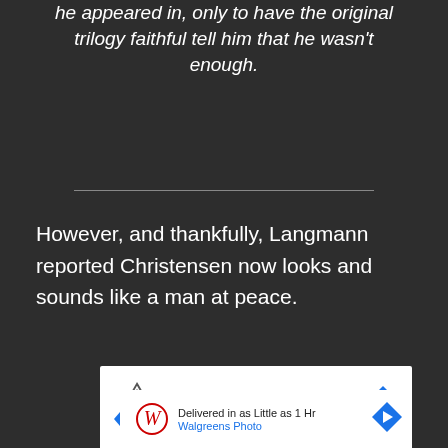he appeared in, only to have the original trilogy faithful tell him that he wasn't enough.
However, and thankfully, Langmann reported Christensen now looks and sounds like a man at peace.
[Figure (other): Topgolf advertisement banner with logo, text 'Perfect activity for everyone', 'Topgolf' in blue, and a navigation arrow icon. Play and close controls visible.]
[Figure (photo): Dramatic image with orange fire and blue lightsaber cross shape]
[Figure (other): Walgreens Photo advertisement: 'Delivered in as Little as 1 Hr', 'Walgreens Photo' in blue, with Walgreens W logo and navigation arrow icon.]